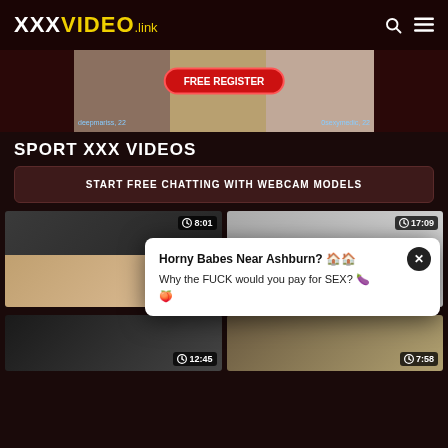XXXVIDEO.link
[Figure (screenshot): Advertisement banner with profile photos and FREE REGISTER button. Names: deepmariss, 22 and 0sexymedic, 22]
SPORT XXX VIDEOS
START FREE CHATTING WITH WEBCAM MODELS
[Figure (screenshot): Video thumbnail left: 8:01 duration]
[Figure (screenshot): Video thumbnail right: 17:09 duration]
Horny Babes Near Ashburn? 🏠🏠
Why the FUCK would you pay for SEX? 🍆
🍑
[Figure (screenshot): Video thumbnail bottom-left: 12:45 duration]
[Figure (screenshot): Video thumbnail bottom-right: 7:58 duration]